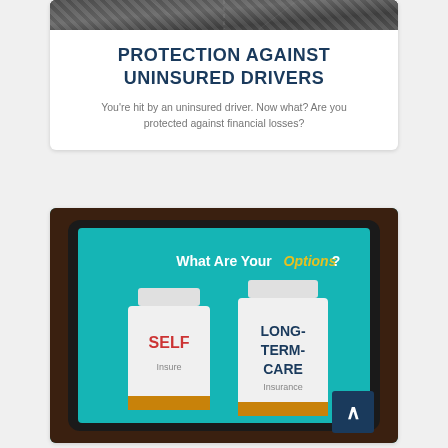[Figure (photo): Aerial view of road/highway intersection, cropped at top of card]
PROTECTION AGAINST UNINSURED DRIVERS
You're hit by an uninsured driver. Now what? Are you protected against financial losses?
[Figure (photo): Tablet device displaying teal screen with text 'What Are Your Options?' and two pill bottles labeled 'SELF Insure' and 'LONG-TERM-CARE insurance']